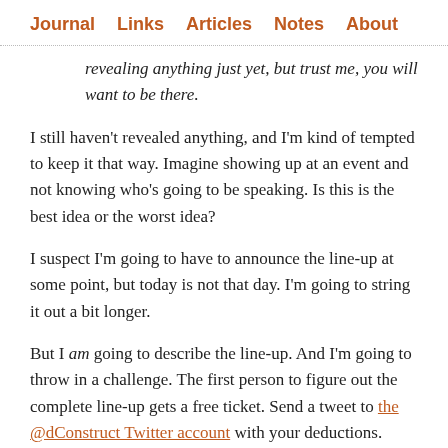Journal   Links   Articles   Notes   About
revealing anything just yet, but trust me, you will want to be there.
I still haven't revealed anything, and I'm kind of tempted to keep it that way. Imagine showing up at an event and not knowing who's going to be speaking. Is this is the best idea or the worst idea?
I suspect I'm going to have to announce the line-up at some point, but today is not that day. I'm going to string it out a bit longer.
But I am going to describe the line-up. And I'm going to throw in a challenge. The first person to figure out the complete line-up gets a free ticket. Send a tweet to the @dConstruct Twitter account with your deductions.